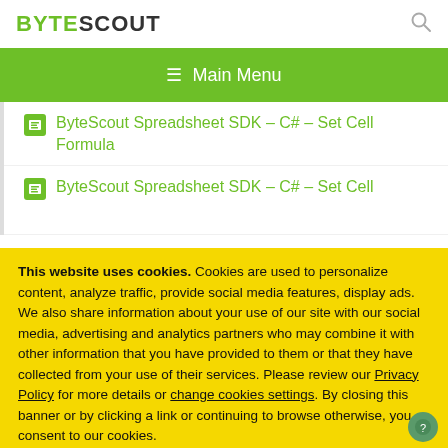BYTESCOUT
Main Menu
ByteScout Spreadsheet SDK – C# – Set Cell Formula
ByteScout Spreadsheet SDK – C# – Set Cell
This website uses cookies. Cookies are used to personalize content, analyze traffic, provide social media features, display ads. We also share information about your use of our site with our social media, advertising and analytics partners who may combine it with other information that you have provided to them or that they have collected from your use of their services. Please review our Privacy Policy for more details or change cookies settings. By closing this banner or by clicking a link or continuing to browse otherwise, you consent to our cookies.
OK